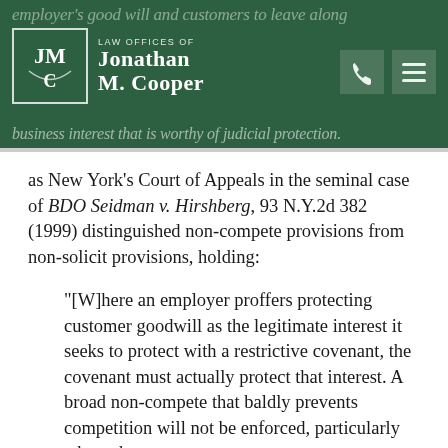employer's good will and customers to leave along...that would be a legiti... business interest that is worthy of judicial protection.
[Figure (logo): Law Offices of Jonathan M. Cooper logo — green square with JMC monogram and firm name]
as New York's Court of Appeals in the seminal case of BDO Seidman v. Hirshberg, 93 N.Y.2d 382 (1999) distinguished non-compete provisions from non-solicit provisions, holding:
"[W]here an employer proffers protecting customer goodwill as the legitimate interest it seeks to protect with a restrictive covenant, the covenant must actually protect that interest. A broad non-compete that baldly prevents competition will not be enforced, particularly where the